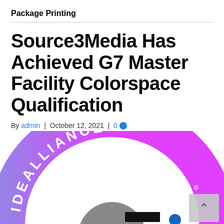Package Printing
Source3Media Has Achieved G7 Master Facility Colorspace Qualification
By admin | October 12, 2021 | 0
[Figure (logo): Idealliance circular badge/logo with magenta-to-purple gradient arc showing 'IDEALLIANCE' text, with gray and black elements at bottom]